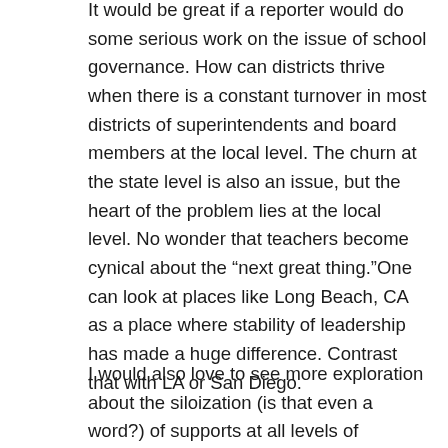It would be great if a reporter would do some serious work on the issue of school governance. How can districts thrive when there is a constant turnover in most districts of superintendents and board members at the local level. The churn at the state level is also an issue, but the heart of the problem lies at the local level. No wonder that teachers become cynical about the “next great thing.”One can look at places like Long Beach, CA as a place where stability of leadership has made a huge difference. Contrast that with LA or San Diego.
I would also love to see more exploration about the siloization (is that even a word?) of supports at all levels of programs that are supposed to